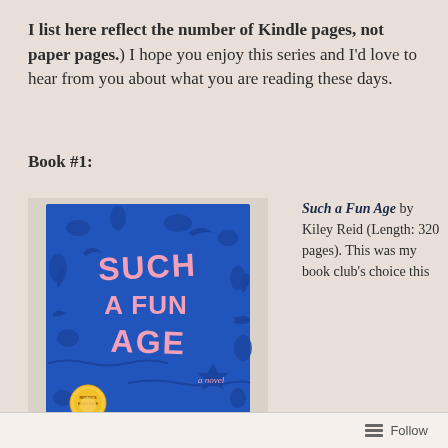I list here reflect the number of Kindle pages, not paper pages.) I hope you enjoy this series and I'd love to hear from you about what you are reading these days.
Book #1:
[Figure (photo): Book cover of 'Such a Fun Age' by Kiley Reid. Blue background with pink hand-lettered title text 'SUCH A FUN AGE' and decorative illustrated animals and plants. Author name 'KILEY REID' at bottom. Reese's Book Club badge in lower left.]
Such a Fun Age by Kiley Reid (Length: 320 pages). This was my book club's choice this
Follow